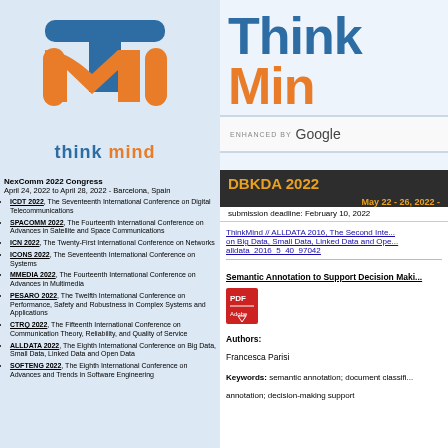[Figure (logo): ThinkMind logo: orange M shape with blue T above, text 'think mind' below in blue/orange]
NexComm 2022 Congress
April 24, 2022 to April 28, 2022 - Barcelona, Spain
ICDT 2022, The Seventeenth International Conference on Digital Telecommunications
SPACOMM 2022, The Fourteenth International Conference on Advances in Satellite and Space Communications
ICN 2022, The Twenty-First International Conference on Networks
ICONS 2022, The Seventeenth International Conference on Systems
MMEDIA 2022, The Fourteenth International Conference on Advances in Multimedia
PESARO 2022, The Twelfth International Conference on Performance, Safety and Robustness in Complex Systems and Applications
CTRQ 2022, The Fifteenth International Conference on Communication Theory, Reliability, and Quality of Service
ALLDATA 2022, The Eighth International Conference on Big Data, Small Data, Linked Data and Open Data
SOFTENG 2022, The Eighth International Conference on Advances and Trends in Software Engineering
[Figure (screenshot): ThinkMind website header showing 'Think Mind' text and Google search bar]
DBKDA 2022
May 22 - 26, 2022 -
submission deadline: February 10, 2022
ThinkMind // ALLDATA 2016, The Second Inte... on Big Data, Small Data, Linked Data and Ope... alldata_2016_5_40_97042
Semantic Annotation to Support Decision Maki...
Authors:
Francesca Parisi
Keywords: semantic annotation; document classifi... annotation; decision-making support